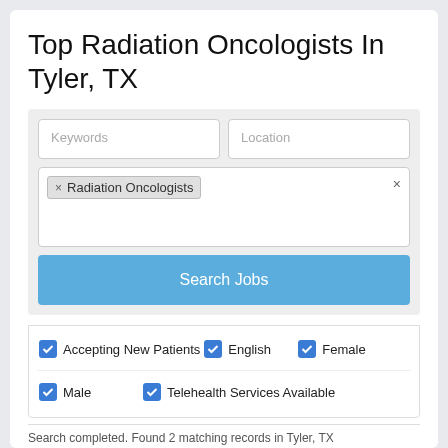Top Radiation Oncologists In Tyler, TX
[Figure (screenshot): Search form with Keywords and Location text inputs, a tag field showing 'Radiation Oncologists' chip with X, and a 'Search Jobs' blue button]
Accepting New Patients
English
Female
Male
Telehealth Services Available
Search completed. Found 2 matching records in Tyler, TX